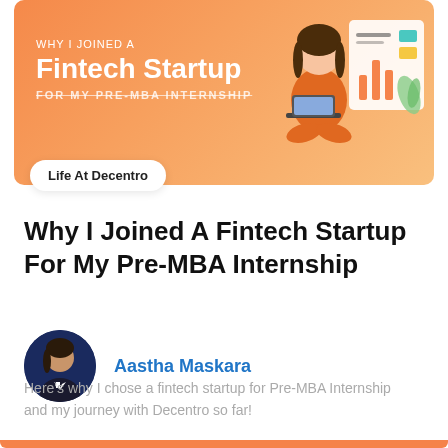[Figure (illustration): Orange banner illustration showing a person sitting with a laptop and a dashboard/screen graphic, with text 'WHY I JOINED A Fintech Startup FOR MY PRE-MBA INTERNSHIP']
Life At Decentro
Why I Joined A Fintech Startup For My Pre-MBA Internship
Aastha Maskara
Here's why I chose a fintech startup for Pre-MBA Internship and my journey with Decentro so far!